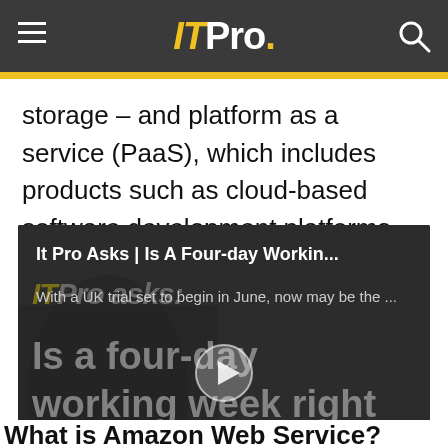ITPro.
storage – and platform as a service (PaaS), which includes products such as cloud-based software development platforms.
[Figure (screenshot): Embedded video player showing 'It Pro Asks | Is A Four-day Workin...' with subtitle 'With a UK trial set to begin in June, now may be the ...' and video content showing text 'Is a four-day working week right for your business?' with a play button overlay on a dark background with ITPro asks watermark.]
What is Amazon Web Service?